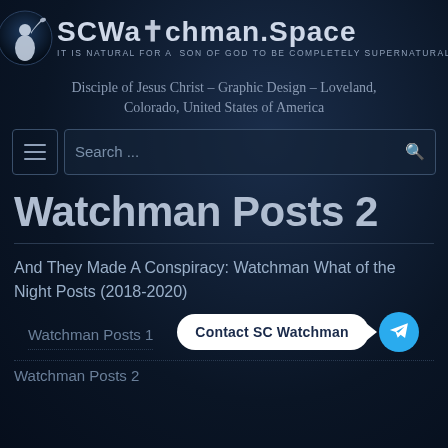[Figure (logo): SCWatchman.Space website logo with circular icon of watchman figure and site name text. Subtitle: IT IS NATURAL FOR A SON OF GOD TO BE COMPLETELY SUPERNATURAL]
Disciple of Jesus Christ – Graphic Design – Loveland, Colorado, United States of America
[Figure (screenshot): Search bar with hamburger menu button on left and magnifying glass icon on right, search placeholder text 'Search ...']
Watchman Posts 2
And They Made A Conspiracy: Watchman What of the Night Posts (2018-2020)
Watchman Posts 1
[Figure (other): Contact SC Watchman button (white pill-shaped with arrow) and Telegram icon button (cyan circle with paper plane)]
Watchman Posts 2